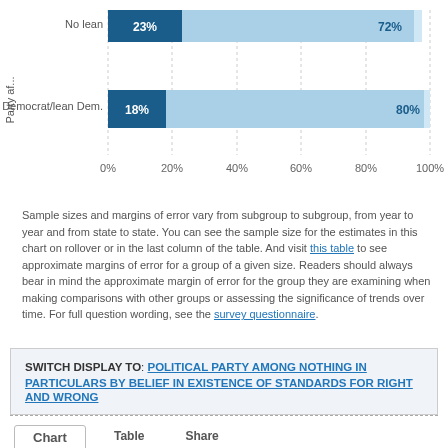[Figure (stacked-bar-chart): Party affiliation by group]
Sample sizes and margins of error vary from subgroup to subgroup, from year to year and from state to state. You can see the sample size for the estimates in this chart on rollover or in the last column of the table. And visit this table to see approximate margins of error for a group of a given size. Readers should always bear in mind the approximate margin of error for the group they are examining when making comparisons with other groups or assessing the significance of trends over time. For full question wording, see the survey questionnaire.
SWITCH DISPLAY TO: POLITICAL PARTY AMONG NOTHING IN PARTICULARS BY BELIEF IN EXISTENCE OF STANDARDS FOR RIGHT AND WRONG